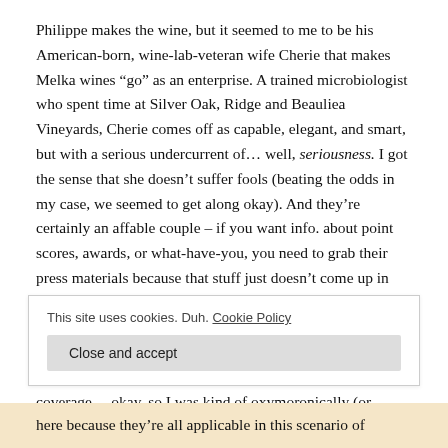Philippe makes the wine, but it seemed to me to be his American-born, wine-lab-veteran wife Cherie that makes Melka wines “go” as an enterprise. A trained microbiologist who spent time at Silver Oak, Ridge and Beauliea Vineyards, Cherie comes off as capable, elegant, and smart, but with a serious undercurrent of… well, seriousness. I got the sense that she doesn’t suffer fools (beating the odds in my case, we seemed to get along okay). And they’re certainly an affable couple – if you want info. about point scores, awards, or what-have-you, you need to grab their press materials because that stuff just doesn’t come up in conversation with the Melkas. Wine, yes (geekily, yes); accolades, no; which sucks if you’re trying to catch them leaning on hubris in a moment of weakness… not that I’d ever do such a thing just to provide you entertaining wine coverage… okay, so I was kind of oxymoronically (or maybe just moronically, in my
This site uses cookies. Duh. Cookie Policy
Close and accept
here because they’re all applicable in this scenario of